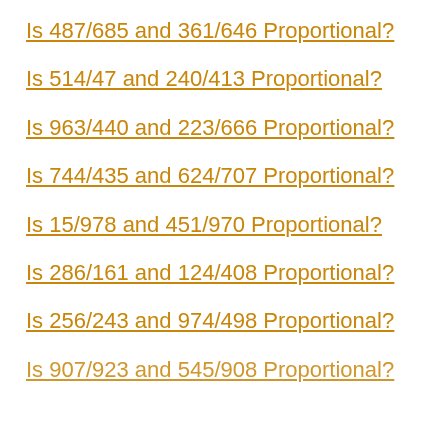Is 487/685 and 361/646 Proportional?
Is 514/47 and 240/413 Proportional?
Is 963/440 and 223/666 Proportional?
Is 744/435 and 624/707 Proportional?
Is 15/978 and 451/970 Proportional?
Is 286/161 and 124/408 Proportional?
Is 256/243 and 974/498 Proportional?
Is 907/923 and 545/908 Proportional?